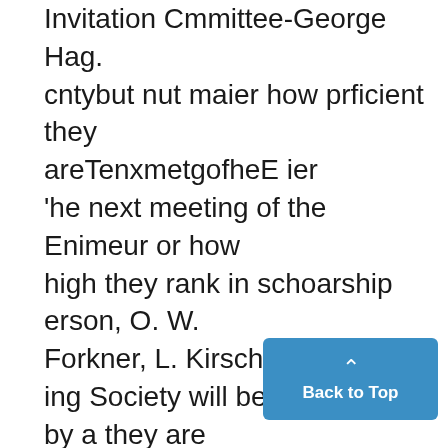Invitation Cmmittee-George Hag. cntybut nut maier how prficient they areTenxmetgofheE ier 'he next meeting of the Enimeur or how high they rank in schoarship erson, O. W. Forkner, L. Kirsch- ing Society will be conducted by a they are given no degree. Of course braun E. E. Ware. party of semior engineers, who wilt lithere are women's colleges in Eng Memorial Com.- Donald Waite, H. describe the summer surveying trip lanu. Citu at men's and women's col- ,L. Keller, K. H. Prat,